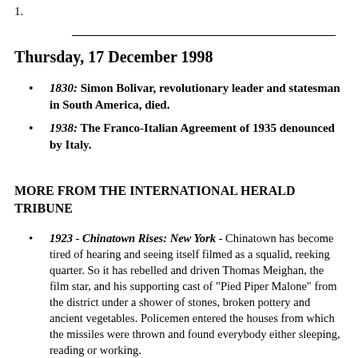1.
Thursday, 17 December 1998
1830: Simon Bolivar, revolutionary leader and statesman in South America, died.
1938: The Franco-Italian Agreement of 1935 denounced by Italy.
MORE FROM THE INTERNATIONAL HERALD TRIBUNE
1923 - Chinatown Rises: New York - Chinatown has become tired of hearing and seeing itself filmed as a squalid, reeking quarter. So it has rebelled and driven Thomas Meighan, the film star, and his supporting cast of "Pied Piper Malone" from the district under a shower of stones, broken pottery and ancient vegetables. Policemen entered the houses from which the missiles were thrown and found everybody either sleeping, reading or working.
1948 - Russian Crime: Moscow - Thirteen industrial executives and engineers have been